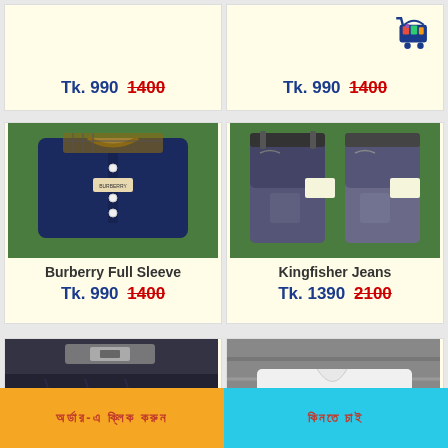Tk. 990  1400
Tk. 990  1400
[Figure (photo): Folded dark navy blue Burberry full sleeve shirt on green grass background]
Burberry Full Sleeve
Tk. 990  1400
[Figure (photo): Two pairs of dark grey Kingfisher jeans displayed on green grass background]
Kingfisher Jeans
Tk. 1390  2100
[Figure (photo): Dark denim jeans partially visible]
[Figure (photo): White Burberry shirt collar visible]
অর্ডার-এ ক্লিক করুন
কিনতে চাই